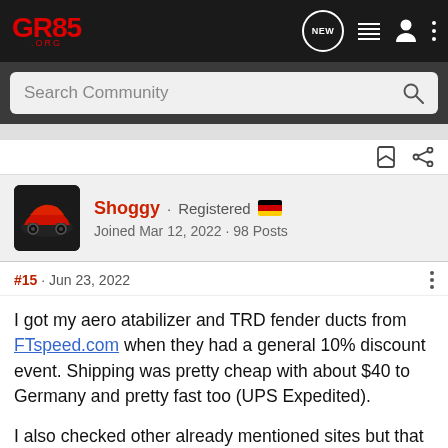GR86.ORG — Navigation bar with logo, NEW chat bubble, list icon, person icon, more options
Search Community
Shoggy · Registered 🇩🇪
Joined Mar 12, 2022 · 98 Posts
#15 · Jun 23, 2022
I got my aero atabilizer and TRD fender ducts from FTspeed.com when they had a general 10% discount event. Shipping was pretty cheap with about $40 to Germany and pretty fast too (UPS Expedited).

I also checked other already mentioned sites but that made no sense for me. While the price for the parts where often cheaper, the shipping costs completely killed it. For example